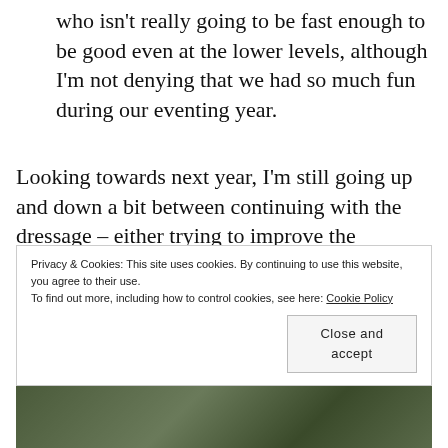who isn't really going to be fast enough to be good even at the lower levels, although I'm not denying that we had so much fun during our eventing year.
Looking towards next year, I'm still going up and down a bit between continuing with the dressage – either trying to improve the Elementary or give EM a shot – or going into showing again, since she is really good at it. It'll depend on the logistics. Either way, my dragon gives me hope. ❤
Privacy & Cookies: This site uses cookies. By continuing to use this website, you agree to their use. To find out more, including how to control cookies, see here: Cookie Policy
[Figure (photo): Partial view of a photo strip at the bottom showing a dark green/foliage scene]